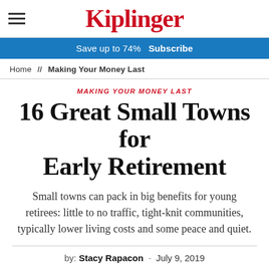Kiplinger
Save up to 74%  Subscribe
Home // Making Your Money Last
MAKING YOUR MONEY LAST
16 Great Small Towns for Early Retirement
Small towns can pack in big benefits for young retirees: little to no traffic, tight-knit communities, typically lower living costs and some peace and quiet.
by: Stacy Rapacon - July 9, 2019